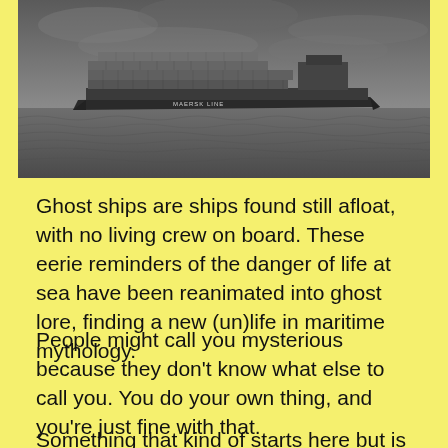[Figure (photo): Black and white photograph of a large container ship (Maersk Line) on open ocean with overcast sky]
Ghost ships are ships found still afloat, with no living crew on board. These eerie reminders of the danger of life at sea have been reanimated into ghost lore, finding a new (un)life in maritime mythology.
People might call you mysterious because they don't know what else to call you. You do your own thing, and you're just fine with that.
Something that starts here but is cut off...